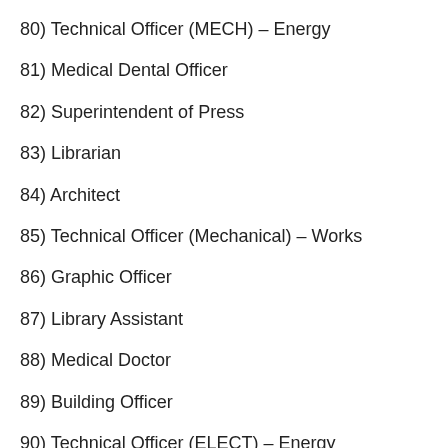80) Technical Officer (MECH) – Energy
81) Medical Dental Officer
82) Superintendent of Press
83) Librarian
84) Architect
85) Technical Officer (Mechanical) – Works
86) Graphic Officer
87) Library Assistant
88) Medical Doctor
89) Building Officer
90) Technical Officer (ELECT) – Energy
91) Technical Officer (Electrical) – Works